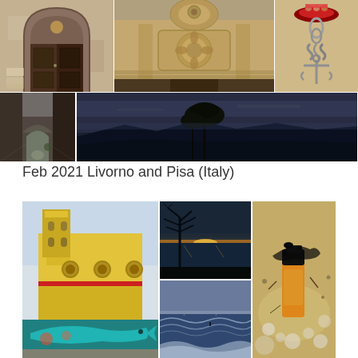[Figure (photo): Grid of travel photos from Italy - top section showing old wooden door, ornate church facade detail, decorative anchor/hooks on wall, narrow alley with arch, and panoramic twilight landscape with umbrella pine tree]
Feb 2021 Livorno and Pisa (Italy)
[Figure (photo): Grid of travel photos from Livorno and Pisa Italy - yellow church building with mural of whale, sunset over river with bare tree, rough sea with lone figure, burnt lighter on sand beach]